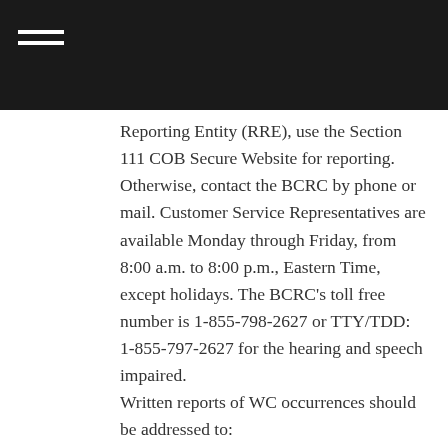Reporting Entity (RRE), use the Section 111 COB Secure Website for reporting. Otherwise, contact the BCRC by phone or mail. Customer Service Representatives are available Monday through Friday, from 8:00 a.m. to 8:00 p.m., Eastern Time, except holidays. The BCRC's toll free number is 1-855-798-2627 or TTY/TDD: 1-855-797-2627 for the hearing and speech impaired. Written reports of WC occurrences should be addressed to: Medicare—Medicare Secondary Payer